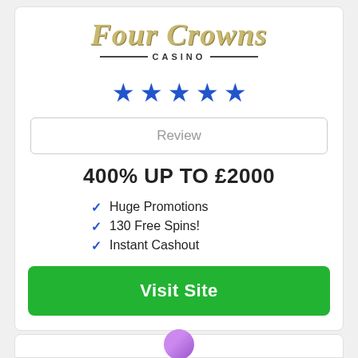[Figure (logo): Four Crowns Casino logo with script text and decorative lines]
[Figure (infographic): 5 blue star rating]
Review
400% UP TO £2000
Huge Promotions
130 Free Spins!
Instant Cashout
Visit Site